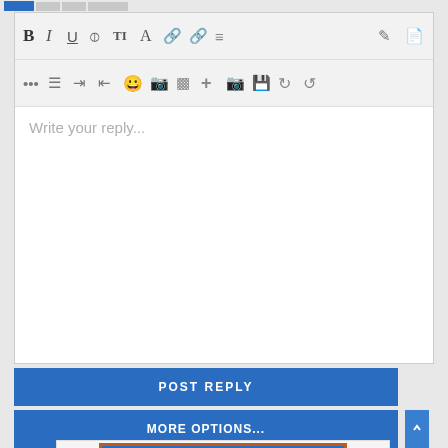[Figure (screenshot): A web forum reply editor with two toolbars (formatting icons: Bold, Italic, Underline, and others), a text area with placeholder text 'Write your reply...', a POST REPLY button, and a MORE OPTIONS... button below.]
Write your reply...
POST REPLY
MORE OPTIONS...
[Figure (screenshot): Sign up now! button with blue background and orange border, partially visible at bottom of page.]
Sign up now!